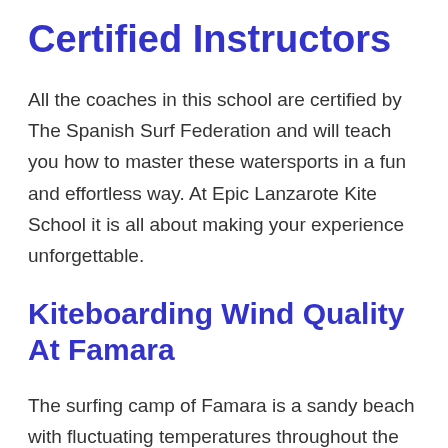Certified Instructors
All the coaches in this school are certified by The Spanish Surf Federation and will teach you how to master these watersports in a fun and effortless way. At Epic Lanzarote Kite School it is all about making your experience unforgettable.
Kiteboarding Wind Quality At Famara
The surfing camp of Famara is a sandy beach with fluctuating temperatures throughout the year. This